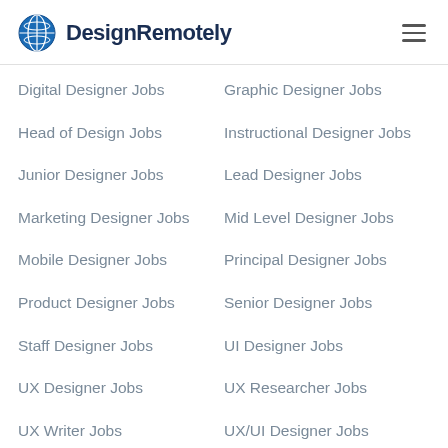DesignRemotely
Digital Designer Jobs
Graphic Designer Jobs
Head of Design Jobs
Instructional Designer Jobs
Junior Designer Jobs
Lead Designer Jobs
Marketing Designer Jobs
Mid Level Designer Jobs
Mobile Designer Jobs
Principal Designer Jobs
Product Designer Jobs
Senior Designer Jobs
Staff Designer Jobs
UI Designer Jobs
UX Designer Jobs
UX Researcher Jobs
UX Writer Jobs
UX/UI Designer Jobs
Visual Designer Jobs
Web Designer Jobs